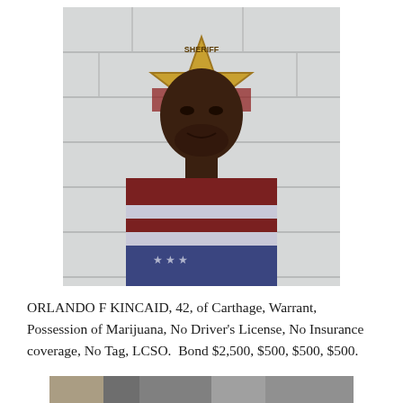[Figure (photo): Mugshot of Orlando F Kincaid against a white cinderblock wall with a large sheriff star badge visible behind him. Subject is wearing an American flag patterned shirt.]
ORLANDO F KINCAID, 42, of Carthage, Warrant, Possession of Marijuana, No Driver's License, No Insurance coverage, No Tag, LCSO.  Bond $2,500, $500, $500, $500.
[Figure (photo): Partially visible mugshot at bottom of page, cropped.]